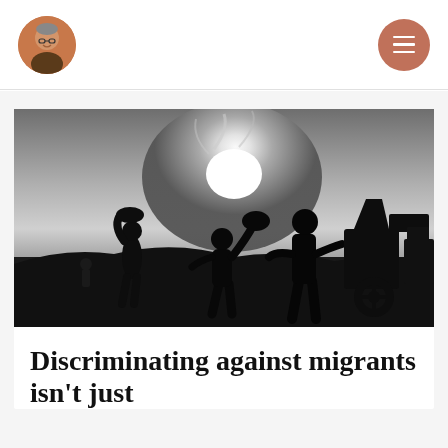[Site logo / author portrait] [Navigation menu button]
[Figure (photo): Black and white silhouette photograph of migrant workers carrying loads on their heads against a bright sky with sun, with machinery visible on the right side.]
Discriminating against migrants isn't just